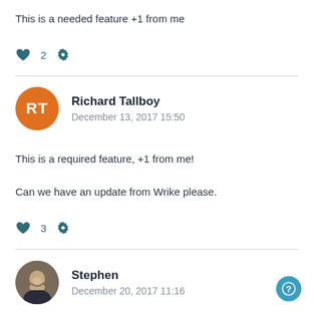This is a needed feature  +1 from me
♥ 2  ⚙
Richard Tallboy
December 13, 2017 15:50
This is a required feature, +1 from me!
Can we have an update from Wrike please.
♥ 3  ⚙
Stephen
December 20, 2017 11:16